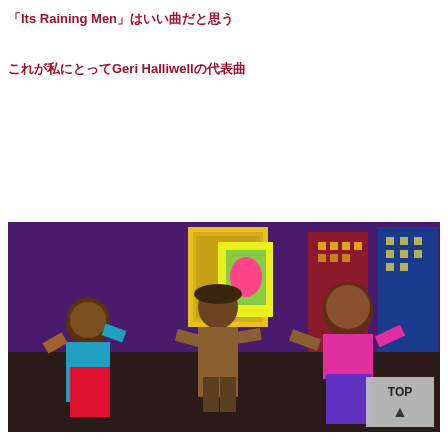「Its Raining Men」はいい曲だと思う
これが私にとってGeri Halliwellの代表曲
[Figure (photo): A colorful TV studio scene with performers dancing and singing, wearing bright costumes including pink, teal, red and purple outfits, with a stylized city backdrop in purple, blue and yellow. A TOP button with upward arrow is visible in the lower right corner of the image.]